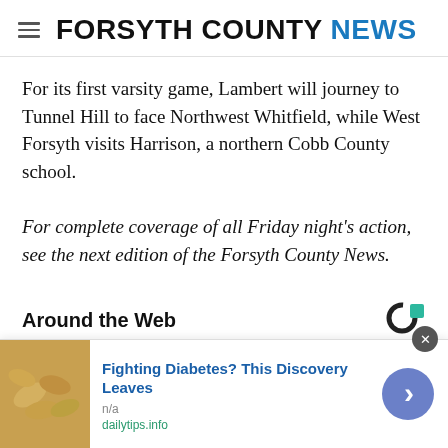FORSYTH COUNTY NEWS
For its first varsity game, Lambert will journey to Tunnel Hill to face Northwest Whitfield, while West Forsyth visits Harrison, a northern Cobb County school.
For complete coverage of all Friday night's action, see the next edition of the Forsyth County News.
Around the Web
[Figure (other): Taboola logo — circular partial ring with teal square accent]
[Figure (photo): Partial image strip of people, cropped at bottom of page]
[Figure (photo): Advertisement banner: Fighting Diabetes? This Discovery Leaves — image of cashews, source n/a, domain dailytips.info]